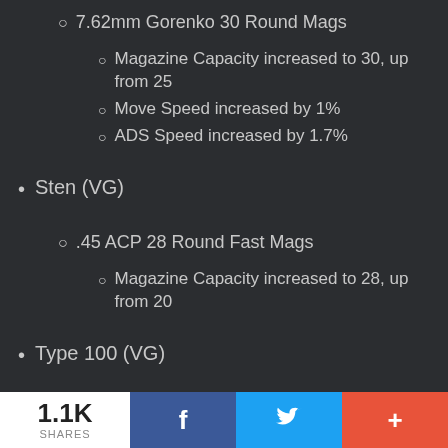7.62mm Gorenko 30 Round Mags
Magazine Capacity increased to 30, up from 25
Move Speed increased by 1%
ADS Speed increased by 1.7%
Sten (VG)
.45 ACP 28 Round Fast Mags
Magazine Capacity increased to 28, up from 20
Type 100 (VG)
30 Russian Short 26 Round Mags
1.1K SHARES  [Facebook] [Twitter] [+]